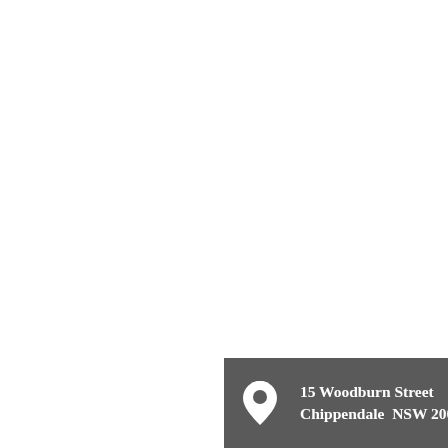[Figure (other): Footer bar with a location pin icon and address text: 15 Woodburn Street, Chippendale NSW 2008, on a dark grey background]